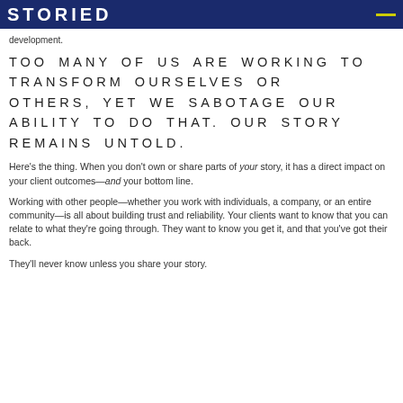STORIED
development.
TOO MANY OF US ARE WORKING TO TRANSFORM OURSELVES OR OTHERS, YET WE SABOTAGE OUR ABILITY TO DO THAT. OUR STORY REMAINS UNTOLD.
Here's the thing. When you don't own or share parts of your story, it has a direct impact on your client outcomes—and your bottom line.
Working with other people—whether you work with individuals, a company, or an entire community—is all about building trust and reliability. Your clients want to know that you can relate to what they're going through. They want to know you get it, and that you've got their back.
They'll never know unless you share your story.